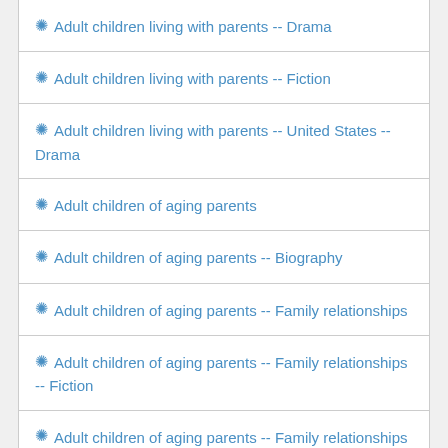Adult children living with parents -- Drama
Adult children living with parents -- Fiction
Adult children living with parents -- United States -- Drama
Adult children of aging parents
Adult children of aging parents -- Biography
Adult children of aging parents -- Family relationships
Adult children of aging parents -- Family relationships -- Fiction
Adult children of aging parents -- Family relationships -- United States -- Case studies
Adult children of aging parents -- Fiction